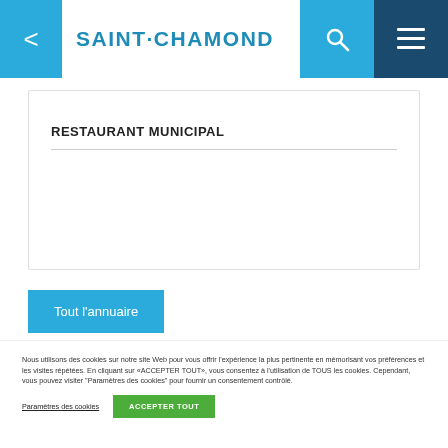SAINT·CHAMOND
RESTAURANT MUNICIPAL
Tout l'annuaire
Nous utilisons des cookies sur notre site Web pour vous offrir l'expérience la plus pertinente en mémorisant vos préférences et les visites répétées. En cliquant sur «ACCEPTER TOUT», vous consentez à l'utilisation de TOUS les cookies. Cependant, vous pouvez visiter "Paramètres des cookies" pour fournir un consentement contrôlé.
Paramètres des cookies
ACCEPTER TOUT